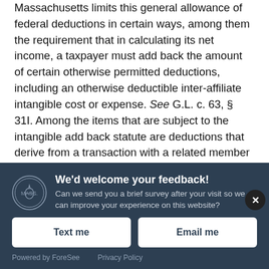Massachusetts limits this general allowance of federal deductions in certain ways, among them the requirement that in calculating its net income, a taxpayer must add back the amount of certain otherwise permitted deductions, including an otherwise deductible inter-affiliate intangible cost or expense. See G.L. c. 63, § 31I. Among the items that are subject to the intangible add back statute are deductions that derive from a transaction with a related member pertaining to a broad classification
We'd welcome your feedback! Can we send you a brief survey after your visit so we can improve your experience on this website?
Text me
Email me
Powered by ForeSee   Privacy Policy